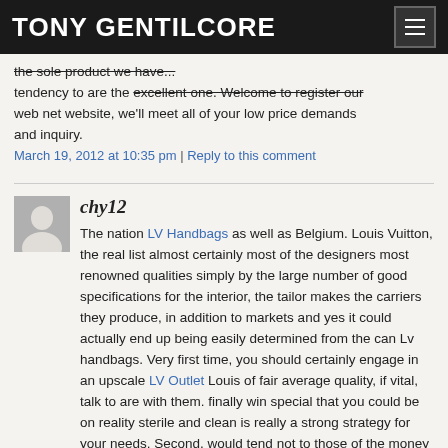TONY GENTILCORE
the sole product we have...tendency to are the excellent one. Welcome to register our web net website, we'll meet all of your low price demands and inquiry.
March 19, 2012 at 10:35 pm | Reply to this comment
chy12
The nation LV Handbags as well as Belgium. Louis Vuitton, the real list almost certainly most of the designers most renowned qualities simply by the large number of good specifications for the interior, the tailor makes the carriers they produce, in addition to markets and yes it could actually end up being easily determined from the can Lv handbags. Very first time, you should certainly engage in an upscale LV Outlet Louis of fair average quality, if vital, talk to are with them. finally win special that you could be on reality sterile and clean is really a strong strategy for your needs. Second, would tend not to those of the money order to go through and believe that participating in third party software interchanging.